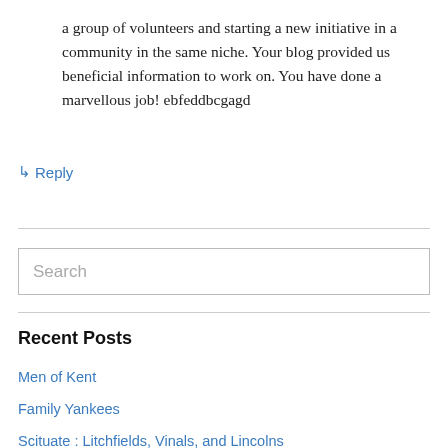a group of volunteers and starting a new initiative in a community in the same niche. Your blog provided us beneficial information to work on. You have done a marvellous job! ebfeddbcgagd
↳ Reply
Search
Recent Posts
Men of Kent
Family Yankees
Scituate : Litchfields, Vinals, and Lincolns